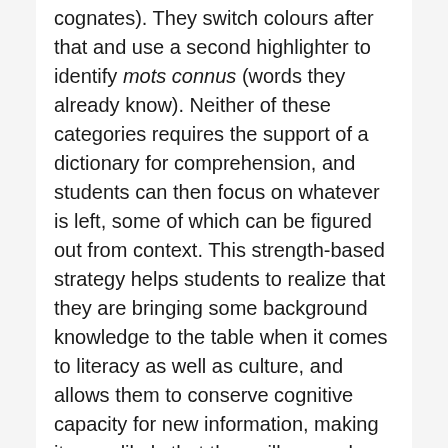cognates). They switch colours after that and use a second highlighter to identify mots connus (words they already know). Neither of these categories requires the support of a dictionary for comprehension, and students can then focus on whatever is left, some of which can be figured out from context. This strength-based strategy helps students to realize that they are bringing some background knowledge to the table when it comes to literacy as well as culture, and allows them to conserve cognitive capacity for new information, making it more likely that they will remember it. The space at the bottom for additional details that may come out of a partner discussion can be added in writing or in pictures, or a combination of the two.
Step 2: Reading authentic